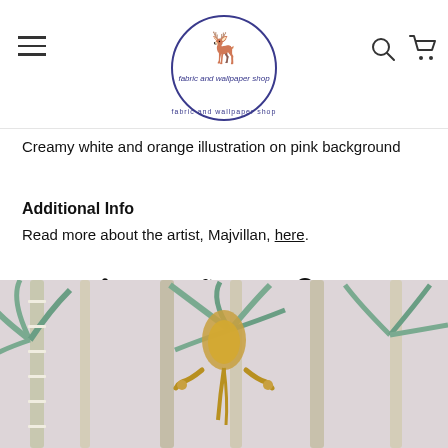Fabric and wallpaper shop logo with hamburger menu, search and cart icons
Creamy white and orange illustration on pink background
Additional Info
Read more about the artist, Majvillan, here.
Share  Tweet  Pin it
[Figure (photo): Tropical wallpaper pattern showing palm trees and a golden monkey/bird chandelier figure on a light pink background]